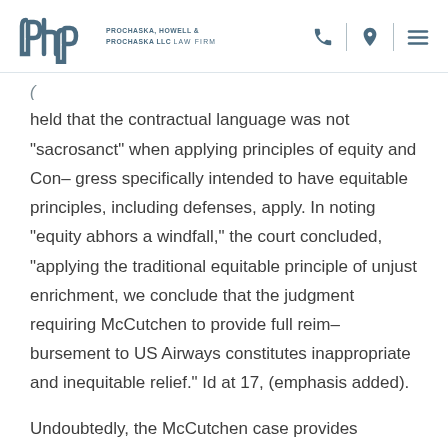PHP PROCHASKA, HOWELL & PROCHASKA LLC LAW FIRM
(... [partial line] ...) held that the contractual language was not “sacrosanct” when applying principles of equity and Con– gress specifically intended to have equitable principles, including defenses, apply. In noting “equity abhors a windfall,” the court concluded, “applying the traditional equitable principle of unjust enrichment, we conclude that the judgment requiring McCutchen to provide full reim– bursement to US Airways constitutes inappropriate and inequitable relief.” Id at 17, (emphasis added).
Undoubtedly, the McCutchen case provides attorneys and their clients a solid foundation to